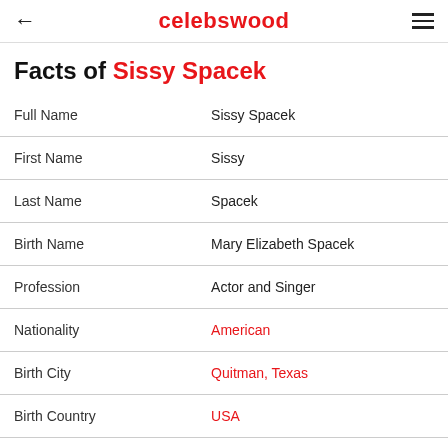celebswood
Facts of Sissy Spacek
| Field | Value |
| --- | --- |
| Full Name | Sissy Spacek |
| First Name | Sissy |
| Last Name | Spacek |
| Birth Name | Mary Elizabeth Spacek |
| Profession | Actor and Singer |
| Nationality | American |
| Birth City | Quitman, Texas |
| Birth Country | USA |
| Father Name | Edwin Arnold Spacek Sr. |